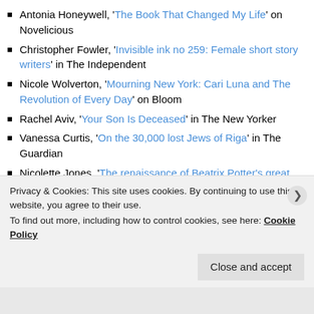Antonia Honeywell, 'The Book That Changed My Life' on Novelicious
Christopher Fowler, 'Invisible ink no 259: Female short story writers' in The Independent
Nicole Wolverton, 'Mourning New York: Cari Luna and The Revolution of Every Day' on Bloom
Rachel Aviv, 'Your Son Is Deceased' in The New Yorker
Vanessa Curtis, 'On the 30,000 lost Jews of Riga' in The Guardian
Nicolette Jones, 'The renaissance of Beatrix Potter's great rival' in The Telegraph
Hermione Lee, 'Alice Munroe's Magic' in The New York Review of Books
Privacy & Cookies: This site uses cookies. By continuing to use this website, you agree to their use. To find out more, including how to control cookies, see here: Cookie Policy
Close and accept